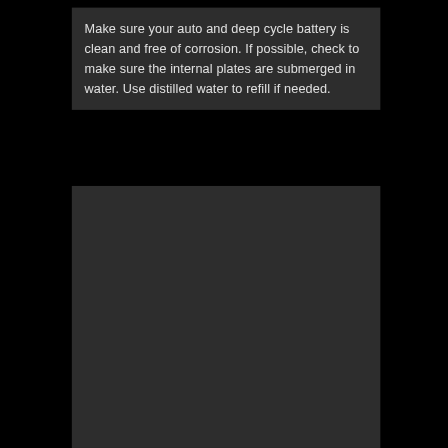Make sure your auto and deep cycle battery is clean and free of corrosion. If possible, check to make sure the internal plates are submerged in water. Use distilled water to refill if needed.
[Figure (photo): Dark image block, appears to be a photo placeholder or very dark/black image of a battery or related subject]